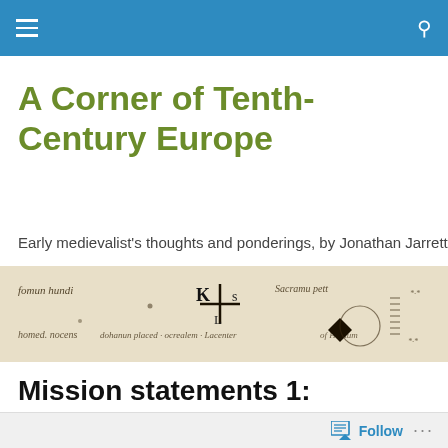A Corner of Tenth-Century Europe
Early medievalist's thoughts and ponderings, by Jonathan Jarrett
[Figure (photo): A medieval manuscript document with handwritten Latin text and a cross-shaped symbol in the center, with a diamond/seal mark on the right side. The parchment appears aged and beige-colored.]
Mission statements 1: artistic licence
Follow